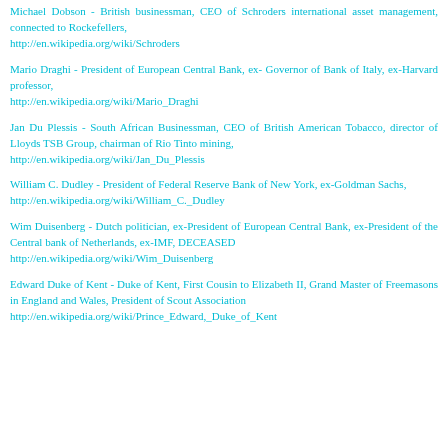Michael Dobson - British businessman, CEO of Schroders international asset management, connected to Rockefellers, http://en.wikipedia.org/wiki/Schroders
Mario Draghi - President of European Central Bank, ex- Governor of Bank of Italy, ex-Harvard professor, http://en.wikipedia.org/wiki/Mario_Draghi
Jan Du Plessis - South African Businessman, CEO of British American Tobacco, director of Lloyds TSB Group, chairman of Rio Tinto mining, http://en.wikipedia.org/wiki/Jan_Du_Plessis
William C. Dudley - President of Federal Reserve Bank of New York, ex-Goldman Sachs, http://en.wikipedia.org/wiki/William_C._Dudley
Wim Duisenberg - Dutch politician, ex-President of European Central Bank, ex-President of the Central bank of Netherlands, ex-IMF, DECEASED http://en.wikipedia.org/wiki/Wim_Duisenberg
Edward Duke of Kent - Duke of Kent, First Cousin to Elizabeth II, Grand Master of Freemasons in England and Wales, President of Scout Association http://en.wikipedia.org/wiki/Prince_Edward,_Duke_of_Kent